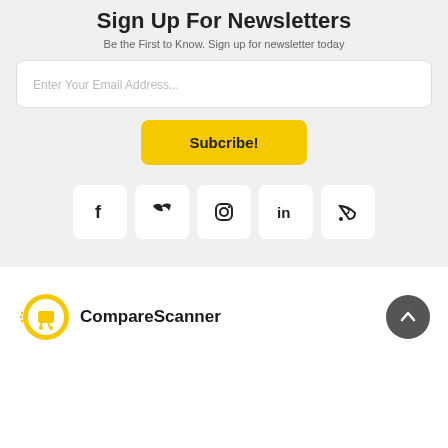Sign Up For Newsletters
Be the First to Know. Sign up for newsletter today
Enter Your Email Address...
Subcribe!
[Figure (other): Social media icons: Facebook (f), Twitter (bird), Instagram (camera), LinkedIn (in), RSS feed]
[Figure (logo): CompareScanner logo with yellow shopping cart icon and speed lines]